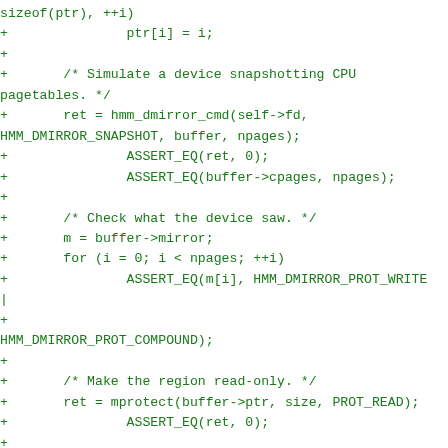Code diff showing C code additions for HMM dmirror snapshot and mprotect test logic